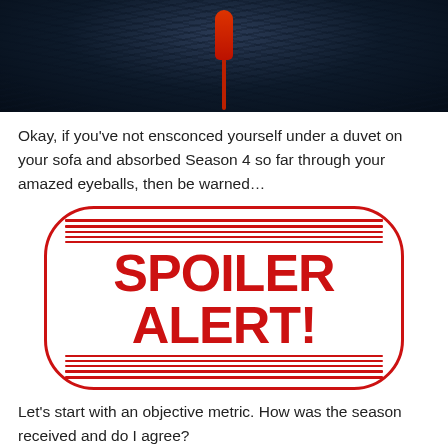[Figure (photo): Dark moody image with dark blue/black textured background and a red balloon or shape at the top center, resembling a Stranger Things or horror themed image.]
Okay, if you've not ensconced yourself under a duvet on your sofa and absorbed Season 4 so far through your amazed eyeballs, then be warned…
[Figure (infographic): Spoiler Alert badge graphic: red outlined oval/pill shape with horizontal red stripes above and below bold red text reading 'SPOILER ALERT!' on white background.]
Let's start with an objective metric. How was the season received and do I agree?
*The IMDB score is the average of the first 7 episodes.
[Figure (logo): Partial IMDB logo: yellow pill/badge shape with large black bold letters 'IMD' visible, cut off at bottom of page. A reCAPTCHA widget overlaps in the bottom right corner.]